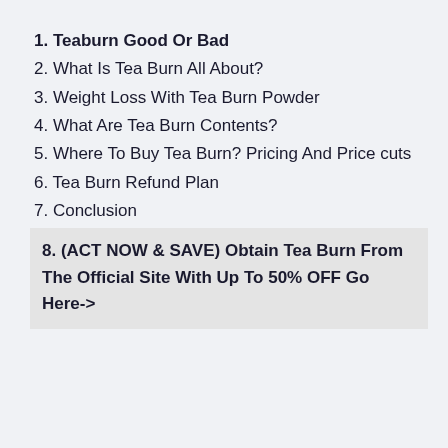1. Teaburn Good Or Bad
2. What Is Tea Burn All About?
3. Weight Loss With Tea Burn Powder
4. What Are Tea Burn Contents?
5. Where To Buy Tea Burn? Pricing And Price cuts
6. Tea Burn Refund Plan
7. Conclusion
8. (ACT NOW & SAVE) Obtain Tea Burn From The Official Site With Up To 50% OFF Go Here->